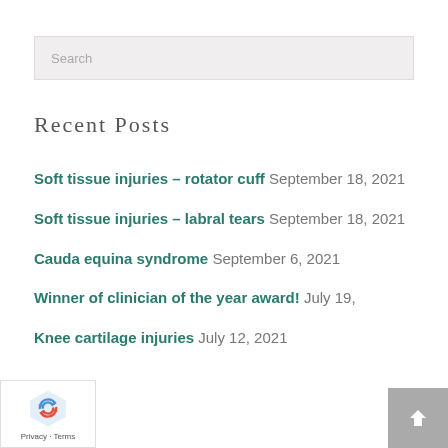Search
Recent Posts
Soft tissue injuries – rotator cuff September 18, 2021
Soft tissue injuries – labral tears September 18, 2021
Cauda equina syndrome September 6, 2021
Winner of clinician of the year award! July 19,
Knee cartilage injuries July 12, 2021